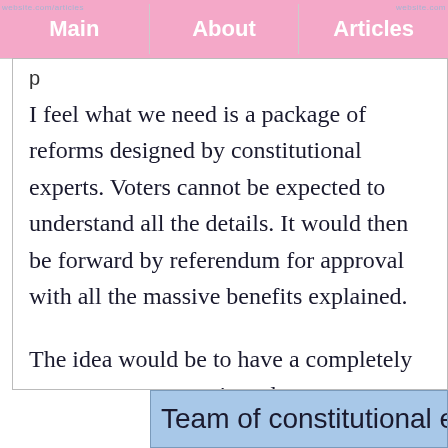Main | About | Articles
I feel what we need is a package of reforms designed by constitutional experts. Voters cannot be expected to understand all the details. It would then be forward by referendum for approval with all the massive benefits explained.
The idea would be to have a completely transparent process in order to get as much trust as possible.
Team of constitutional e